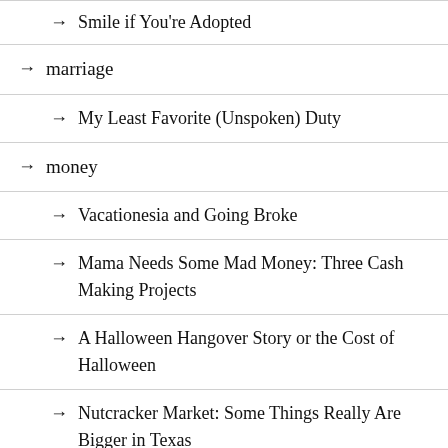→ Smile if You're Adopted
→ marriage
→ My Least Favorite (Unspoken) Duty
→ money
→ Vacationesia and Going Broke
→ Mama Needs Some Mad Money: Three Cash Making Projects
→ A Halloween Hangover Story or the Cost of Halloween
→ Nutcracker Market: Some Things Really Are Bigger in Texas